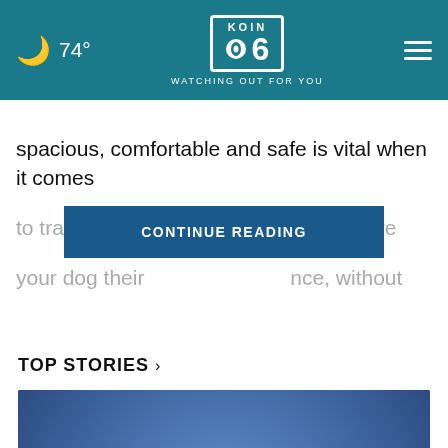🌙 74° | KOIN 6 CBS — WATCHING OUT FOR YOU
spacious, comfortable and safe is vital when it comes to training and [CONTINUE READING] help to give your dog their [obscured] once, without
CONTINUE READING
TOP STORIES ›
[Figure (photo): A man with curly hair wearing a mask, photographed from the front/side against a blue background]